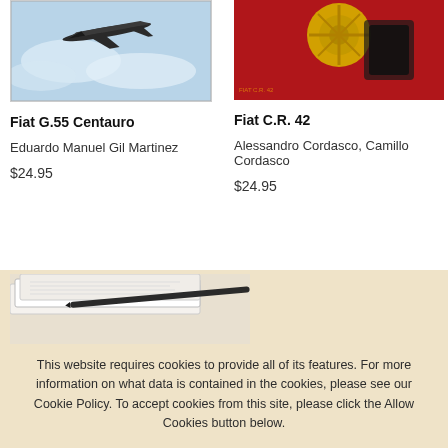[Figure (photo): Book cover of Fiat G.55 Centauro — fighter aircraft in sky]
Fiat G.55 Centauro
Eduardo Manuel Gil Martinez
$24.95
[Figure (photo): Book cover of Fiat C.R. 42 — yellow aircraft detail on red background]
Fiat C.R. 42
Alessandro Cordasco, Camillo Cordasco
$24.95
[Figure (photo): Stacked books image at bottom left of page]
This website requires cookies to provide all of its features. For more information on what data is contained in the cookies, please see our Cookie Policy. To accept cookies from this site, please click the Allow Cookies button below.